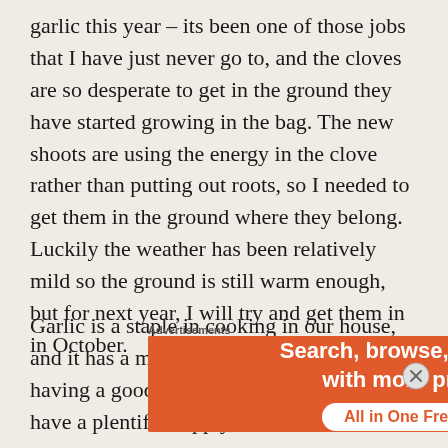garlic this year – its been one of those jobs that I have just never go to, and the cloves are so desperate to get in the ground they have started growing in the bag. The new shoots are using the energy in the clove rather than putting out roots, so I needed to get them in the ground where they belong. Luckily the weather has been relatively mild so the ground is still warm enough, but for next year, I will try and get them in in October.
Garlic is a staple in cooking in our house, and it has a multitude of health benefits, so having a good crop will make sure that we have a plentiful supply, once its
Advertisements
[Figure (other): DuckDuckGo advertisement banner: orange background with text 'Search, browse, and email with more privacy. All in One Free App' and DuckDuckGo logo on dark background.]